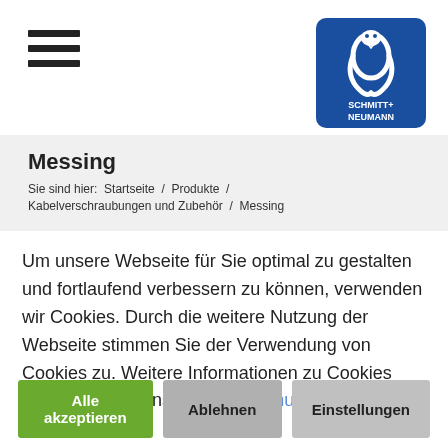[Figure (logo): Schmitt+Neumann logo: blue square with white cobra snake and company name in white text]
Messing
Sie sind hier:  Startseite  /  Produkte  /  Kabelverschraubungen und Zubehör  /  Messing
Um unsere Webseite für Sie optimal zu gestalten und fortlaufend verbessern zu können, verwenden wir Cookies. Durch die weitere Nutzung der Webseite stimmen Sie der Verwendung von Cookies zu. Weitere Informationen zu Cookies erhalten Sie in unserer Datenschutzerklärung.
Alle akzeptieren | Ablehnen | Einstellungen